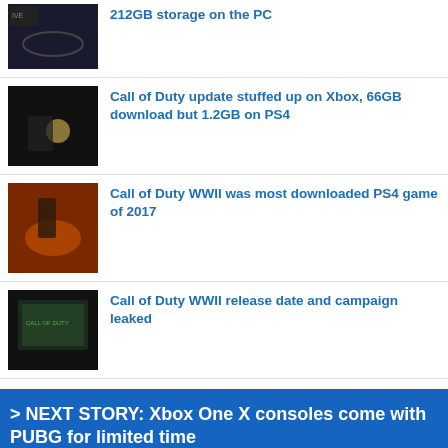212GB storage on the PC
Call of Duty update stuffed up on Xbox, 66GB download but 1.2GB on PS4
Call of Duty WWII was most downloaded PS4 game of 2017
Call of Duty WWII release date and campaign leaked
> NEXT STORY: Xbox One X consoles come with PUBG for limited time
< PREVIOUS STORY: Infinity Ward opens new studio in Poland